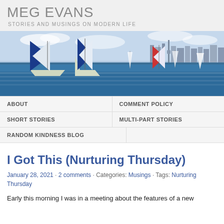MEG EVANS
STORIES AND MUSINGS ON MODERN LIFE
[Figure (photo): Sailboats with blue and white spinnakers racing on Sydney Harbour with the Sydney city skyline in the background]
ABOUT | COMMENT POLICY | SHORT STORIES | MULTI-PART STORIES | RANDOM KINDNESS BLOG
I Got This (Nurturing Thursday)
January 28, 2021 · 2 comments · Categories: Musings · Tags: Nurturing Thursday
Early this morning I was in a meeting about the features of a new